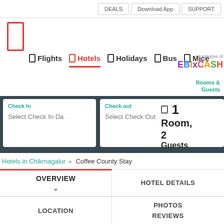DEALS | Download App | SUPPORT
[Figure (logo): Red outlined rectangle, logo placeholder]
Flights | Hotels | Holidays | Bus | Mice
An Initiative of EbixCash
Rooms & Guests
Check In: Select Check In Date
Check out: Select Check Out Date
1 Room, 2 Guests
Hotels in Chikmagalur > Coffee County Stay
| OVERVIEW | HOTEL DETAILS |
| --- | --- |
| LOCATION | PHOTOS |
|  | REVIEWS |